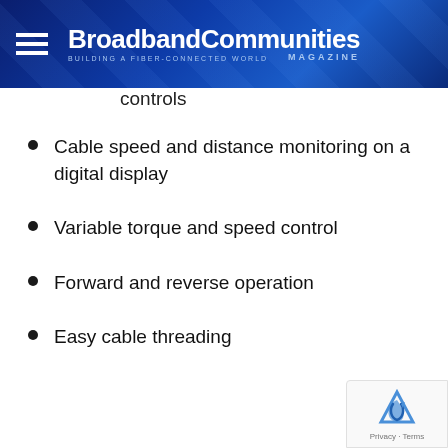BroadbandCommunities Magazine — Building a Fiber-Connected World
controls
Cable speed and distance monitoring on a digital display
Variable torque and speed control
Forward and reverse operation
Easy cable threading